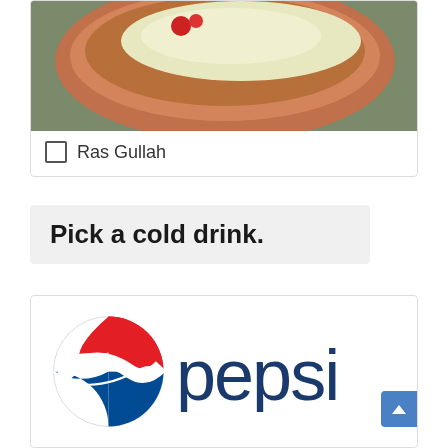[Figure (photo): Photo of a clay bowl containing what appears to be a white dessert (Ras Gullah) with a red element, partially visible at top of page]
Ras Gullah
Pick a cold drink.
[Figure (logo): Pepsi logo — circular red, white and blue swirl emblem with 'pepsi' text in dark blue to the right]